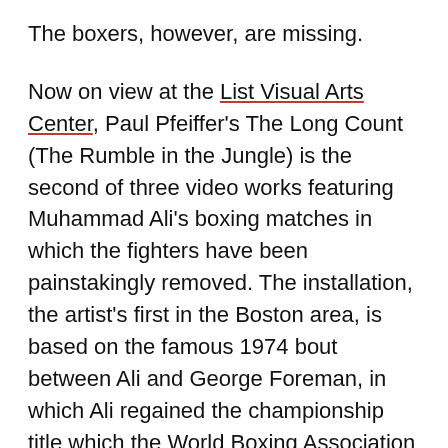The boxers, however, are missing.
Now on view at the List Visual Arts Center, Paul Pfeiffer's The Long Count (The Rumble in the Jungle) is the second of three video works featuring Muhammad Ali's boxing matches in which the fighters have been painstakingly removed. The installation, the artist's first in the Boston area, is based on the famous 1974 bout between Ali and George Foreman, in which Ali regained the championship title which the World Boxing Association stripped from him for refusing to fight in the Vietnam War.
By digitally erasing the boxers, Pfeiffer allows the viewer to see only their shadowy forms, the